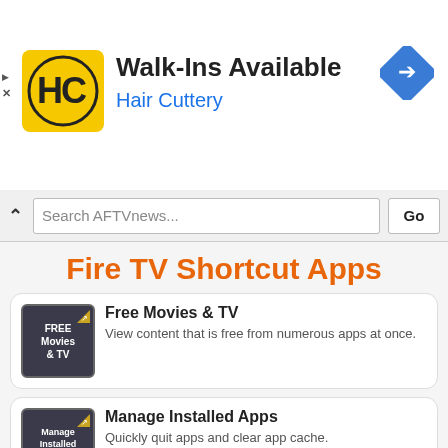[Figure (infographic): Hair Cuttery advertisement banner with logo, 'Walk-Ins Available' headline, and navigation icon]
Search AFTVnews...
Fire TV Shortcut Apps
Free Movies & TV
View content that is free from numerous apps at once.
Manage Installed Apps
Quickly quit apps and clear app cache.
Recently Watched
Jump back to what you're watching without scrolling down the home screen.